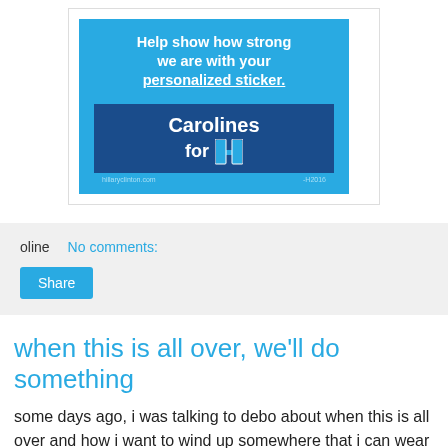[Figure (screenshot): Hillary Clinton campaign personalized sticker image on a bright blue background with text 'Help show how strong we are with your personalized sticker.' and a dark blue banner reading 'Carolines for H' with the Hillary H logo.]
oline   No comments:
Share
when this is all over, we'll do something
some days ago, i was talking to debo about when this is all over and how i want to wind up somewhere that i can wear a bathing suit. solely due to the realization that i've not worn one since april 2012. which seems an unreasonably long